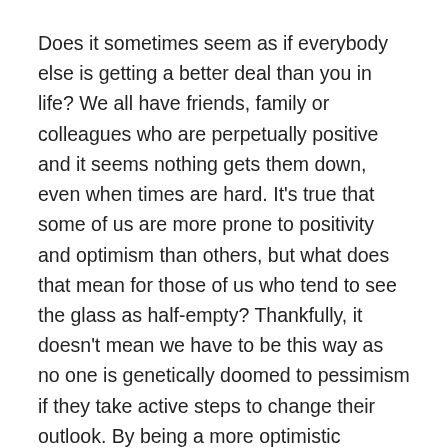Does it sometimes seem as if everybody else is getting a better deal than you in life? We all have friends, family or colleagues who are perpetually positive and it seems nothing gets them down, even when times are hard. It's true that some of us are more prone to positivity and optimism than others, but what does that mean for those of us who tend to see the glass as half-empty? Thankfully, it doesn't mean we have to be this way as no one is genetically doomed to pessimism if they take active steps to change their outlook. By being a more optimistic person, we can achieve the same levels of satisfaction in our lives like anyone else, but the benefits don't stop there.
Here are 5 persuasive reasons to try and adopt a more optimistic attitude to life.